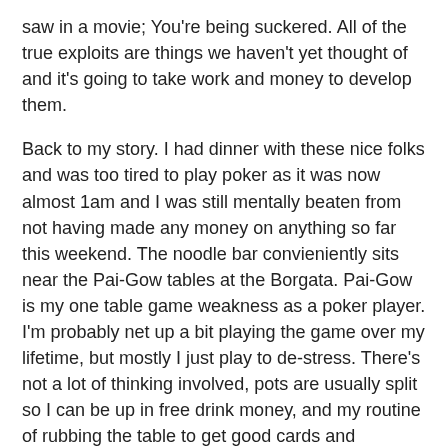saw in a movie; You're being suckered. All of the true exploits are things we haven't yet thought of and it's going to take work and money to develop them.
Back to my story. I had dinner with these nice folks and was too tired to play poker as it was now almost 1am and I was still mentally beaten from not having made any money on anything so far this weekend. The noodle bar convieniently sits near the Pai-Gow tables at the Borgata. Pai-Gow is my one table game weakness as a poker player. I'm probably net up a bit playing the game over my lifetime, but mostly I just play to de-stress. There's not a lot of thinking involved, pots are usually split so I can be up in free drink money, and my routine of rubbing the table to get good cards and shouting 'MONKEY' at the dealer is relaxing. The tables that night had gone up to their usual Saturday night $40 minimum, which is more than I wanted to spend. I was about to walk away when I decided, "Fuck it". I'll put down $400 for 10 bets and see what I can do. To soften the variance a bit, I decided to play two hands at a time, which was a good strategy since I will usually not lose both unless the dealer has a monster (boat over Aces or some such nonsense). I